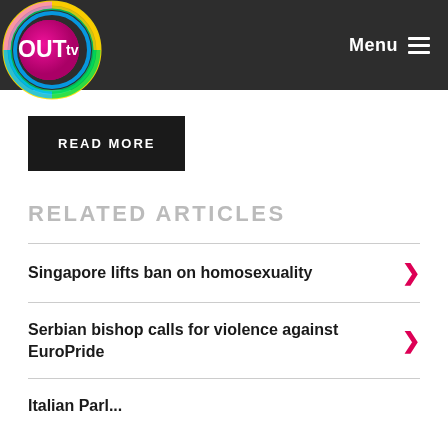[Figure (logo): OUTtv logo - colorful swirl with pink/magenta circle and white OUT text with tv]
Menu
READ MORE
RELATED ARTICLES
Singapore lifts ban on homosexuality
Serbian bishop calls for violence against EuroPride
Italian Parl...